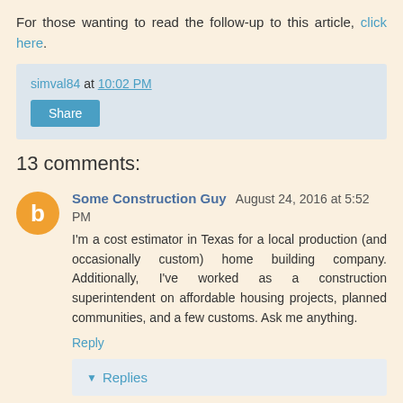For those wanting to read the follow-up to this article, click here.
simval84 at 10:02 PM
Share
13 comments:
Some Construction Guy August 24, 2016 at 5:52 PM
I'm a cost estimator in Texas for a local production (and occasionally custom) home building company. Additionally, I've worked as a construction superintendent on affordable housing projects, planned communities, and a few customs. Ask me anything.
Reply
Replies